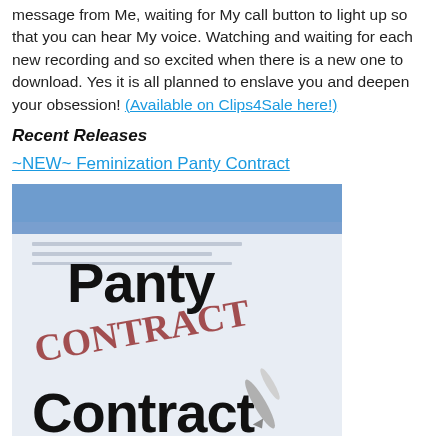message from Me, waiting for My call button to light up so that you can hear My voice. Watching and waiting for each new recording and so excited when there is a new one to download. Yes it is all planned to enslave you and deepen your obsession! (Available on Clips4Sale here!)
Recent Releases
~NEW~ Feminization Panty Contract
[Figure (photo): Photo of a document with the words 'Panty Contract' in large black bold text overlaid on a contract document, with a pen visible at the bottom.]